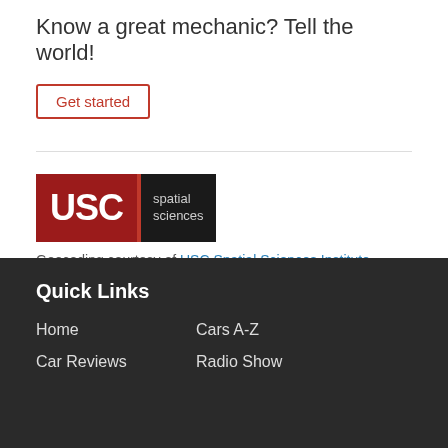Know a great mechanic? Tell the world!
Get started
[Figure (logo): USC Spatial Sciences logo: red background with white 'USC' text, divider line, black background with 'spatial sciences' text]
Geocoding courtesy of USC Spatial Sciences Institute
Quick Links
Home
Cars A-Z
Car Reviews
Radio Show